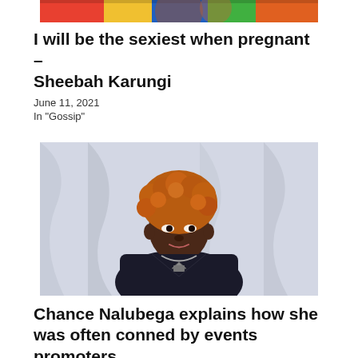[Figure (photo): Partial view of top of image showing colorful patterned fabric clothing]
I will be the sexiest when pregnant – Sheebah Karungi
June 11, 2021
In "Gossip"
[Figure (photo): Portrait photo of Chance Nalubega, a woman with orange curly hair wearing a black top and silver necklace, seated against a light background]
Chance Nalubega explains how she was often conned by events promoters